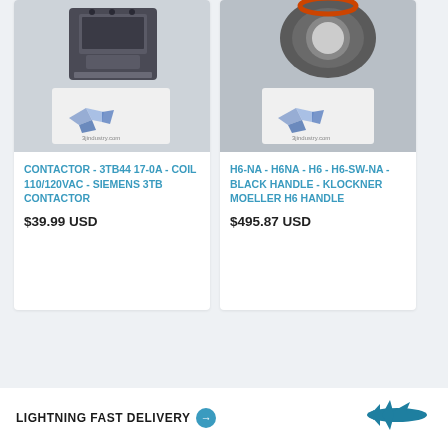[Figure (photo): Product photo of Contactor 3TB44 17-0A with 3Jindustry.com watermark logo]
CONTACTOR - 3TB44 17-0A - COIL 110/120VAC - SIEMENS 3TB CONTACTOR
$39.99 USD
[Figure (photo): Product photo of H6 Black Handle Klockner Moeller with 3Jindustry.com watermark logo]
H6-NA - H6NA - H6 - H6-SW-NA - BLACK HANDLE - KLOCKNER MOELLER H6 HANDLE
$495.87 USD
LIGHTNING FAST DELIVERY